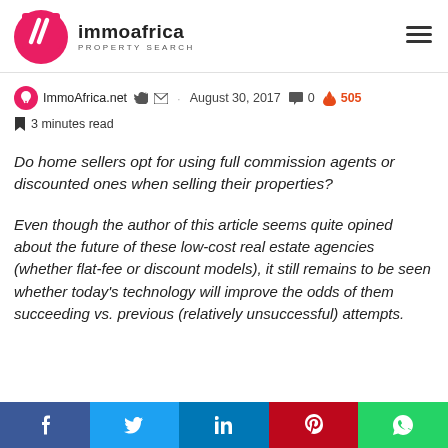ImmoAfrica PROPERTY SEARCH
ImmoAfrica.net · August 30, 2017 · 0 · 505
3 minutes read
Do home sellers opt for using full commission agents or discounted ones when selling their properties?
Even though the author of this article seems quite opined about the future of these low-cost real estate agencies (whether flat-fee or discount models), it still remains to be seen whether today's technology will improve the odds of them succeeding vs. previous (relatively unsuccessful) attempts.